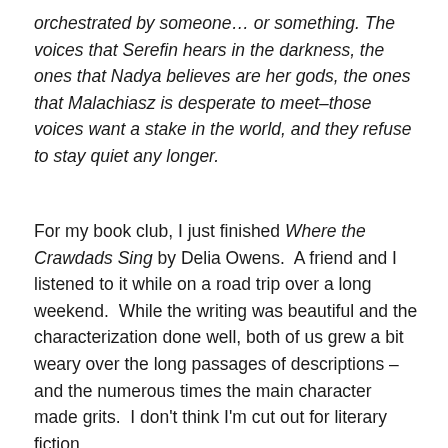orchestrated by someone… or something. The voices that Serefin hears in the darkness, the ones that Nadya believes are her gods, the ones that Malachiasz is desperate to meet–those voices want a stake in the world, and they refuse to stay quiet any longer.
For my book club, I just finished Where the Crawdads Sing by Delia Owens.  A friend and I listened to it while on a road trip over a long weekend.  While the writing was beautiful and the characterization done well, both of us grew a bit weary over the long passages of descriptions – and the numerous times the main character made grits.  I don't think I'm cut out for literary fiction.